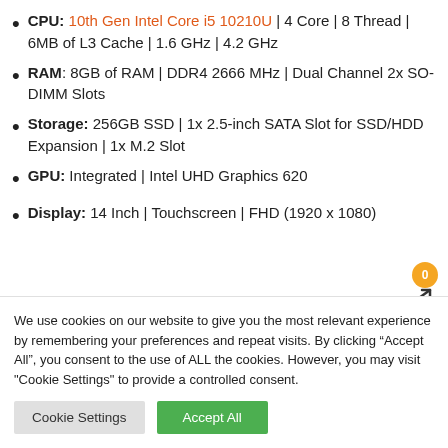CPU: 10th Gen Intel Core i5 10210U | 4 Core | 8 Thread | 6MB of L3 Cache | 1.6 GHz | 4.2 GHz
RAM: 8GB of RAM | DDR4 2666 MHz | Dual Channel 2x SO-DIMM Slots
Storage: 256GB SSD | 1x 2.5-inch SATA Slot for SSD/HDD Expansion | 1x M.2 Slot
GPU: Integrated | Intel UHD Graphics 620
Display: 14 Inch | Touchscreen | FHD (1920 x 1080)
We use cookies on our website to give you the most relevant experience by remembering your preferences and repeat visits. By clicking “Accept All”, you consent to the use of ALL the cookies. However, you may visit "Cookie Settings" to provide a controlled consent.